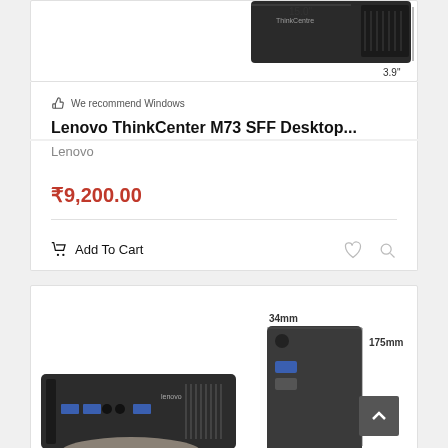[Figure (photo): Lenovo ThinkCenter M73 SFF Desktop product image showing dimensions 15.0" and 3.9" (top of card, partially cropped)]
We recommend Windows
Lenovo ThinkCenter M73 SFF Desktop...
Lenovo
₹9,200.00
Add To Cart
[Figure (photo): Second product card showing two small form factor desktop computers with dimensions 34mm and 175mm labeled. A scroll-to-top button is visible.]